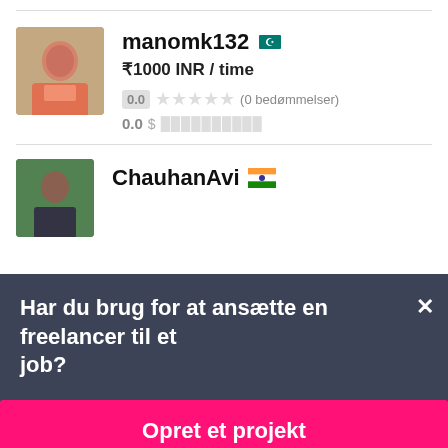[Figure (photo): Profile avatar of manomk132, a person photo]
manomk132 🇵🇰
₹1000 INR / time
0.0 ★★★★★ (0 bedømmelser)
0.0 $ ░░░░░░░░░░
[Figure (photo): Profile avatar of ChauhanAvi, outdoor photo]
ChauhanAvi 🇮🇳
Har du brug for at ansætte en freelancer til et job?
Opret et projekt